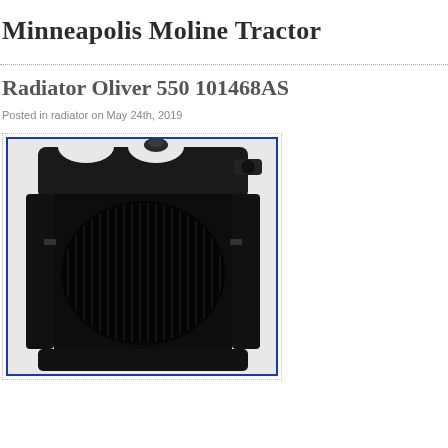Minneapolis Moline Tractor
Radiator Oliver 550 101468AS
Posted in radiator on May 24th, 2019
[Figure (photo): Photo of a tractor radiator (Oliver 550 101468AS), shown front-on with black/dark finish, top tank with inlet/outlet ports, and a large oval-shaped core with vertical fins. Framed with a blue border.]